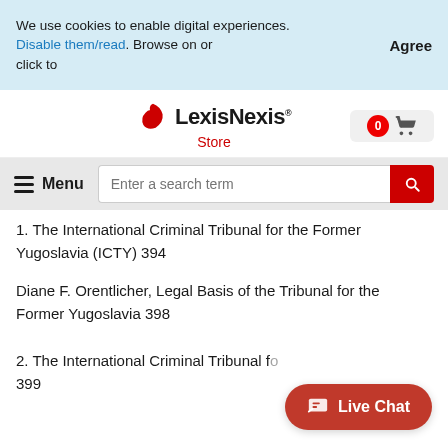We use cookies to enable digital experiences. Disable them/read. Browse on or click to
Agree
[Figure (logo): LexisNexis Store logo with red fan icon]
0 (cart icon)
Menu (hamburger icon) | Enter a search term (search bar with red search button)
1. The International Criminal Tribunal for the Former Yugoslavia (ICTY) 394
Diane F. Orentlicher, Legal Basis of the Tribunal for the Former Yugoslavia 398
2. The International Criminal Tribunal for... 399
Live Chat